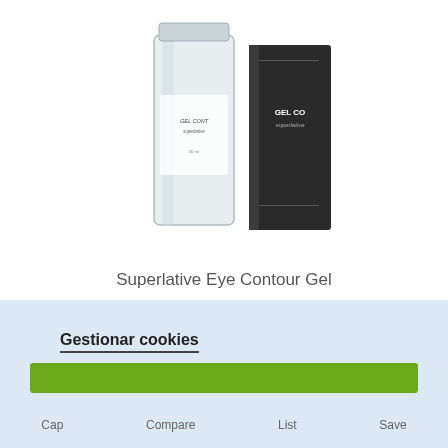[Figure (photo): Product photo of Superlative Eye Contour Gel — a clear glass bottle and dark box packaging with GEL CONTOUR / superlative text visible]
Superlative Eye Contour Gel
40,00 €
★ ★ ★ ★ ★
Gestionar cookies
Cap   Compare   List   Save